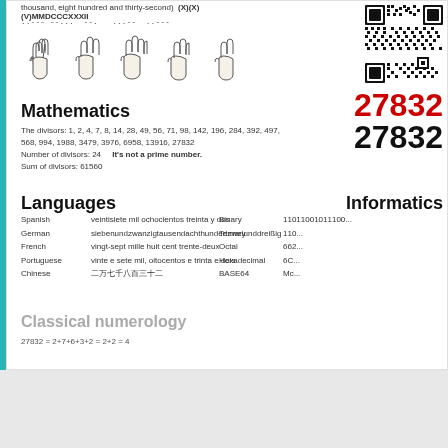thousand, eight hundred and thirty-second)  (X)(X)(V)MMDCCCXXXII
..--- --... --.   ...-- ..---
[Figure (illustration): Five hand gesture illustrations showing finger counting for the number 27832]
[Figure (other): QR code for number 27832]
Mathematics
27832
27832
The divisors: 1, 2, 4, 7, 8, 14, 28, 49, 56, 71, 98, 142, 196, 284, 392, 497, 568, 994, 1988, 3479, 3976, 6958, 13916, 27832
Number of divisors: 24    It's not a prime number.
Sum of divisors: 61560
Languages
Informatics
| Language | Value |
| --- | --- |
| Spanish | veintisiete mil ochocientos treinta y dos |
| German | siebenundzwanzigtausendachthundertzweiunddreißig |
| French | vingt-sept mille huit cent trente-deux |
| Portuguese | vinte e sete mil, oitocentos e trinta e dois |
| Chinese | 二万七千八百三十二 |
| System | Value |
| --- | --- |
| Binary | 11011001011100... |
| Ternary | 110... |
| Octal | 662... |
| Hexadecimal | 6C... |
| BASE64 | Mc... |
Classical numerology